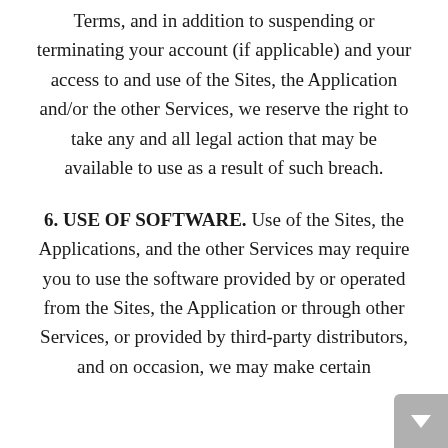Terms, and in addition to suspending or terminating your account (if applicable) and your access to and use of the Sites, the Application and/or the other Services, we reserve the right to take any and all legal action that may be available to use as a result of such breach.
6. USE OF SOFTWARE. Use of the Sites, the Applications, and the other Services may require you to use the software provided by or operated from the Sites, the Application or through other Services, or provided by third-party distributors, and on occasion, we may make certain